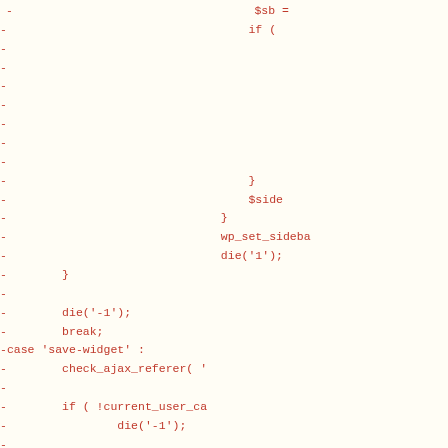code diff showing removed lines with - prefix, PHP code snippet